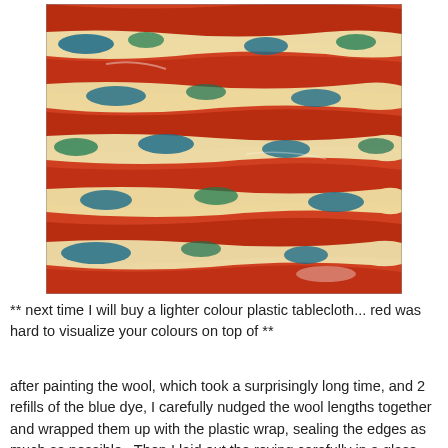[Figure (photo): Close-up photo of wool roving laid out on a red plastic tablecloth, with patches of blue and yellow dye applied in irregular stripe patterns across the wool.]
** next time I will buy a lighter colour plastic tablecloth... red was hard to visualize your colours on top of **
after painting the wool, which took a surprisingly long time, and 2 refills of the blue dye, I carefully nudged the wool lengths together and wrapped them up with the plastic wrap, sealing the edges as much as possible.  Then I laid out the roving carefully in a glass baking dish (9x9 inch) and then microwaved the wool on high for 2 minutes, then rested for 2